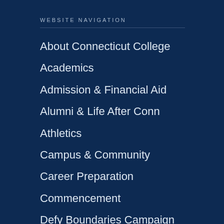WEBSITE NAVIGATION
About Connecticut College
Academics
Admission & Financial Aid
Alumni & Life After Conn
Athletics
Campus & Community
Career Preparation
Commencement
Defy Boundaries Campaign